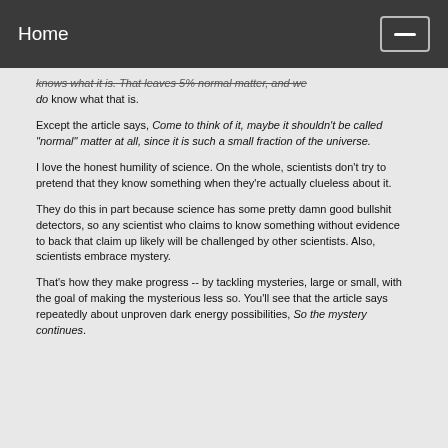Home
knows what it is. That leaves 5% normal matter, and we do know what that is.
Except the article says, Come to think of it, maybe it shouldn't be called "normal" matter at all, since it is such a small fraction of the universe.
I love the honest humility of science. On the whole, scientists don't try to pretend that they know something when they're actually clueless about it.
They do this in part because science has some pretty damn good bullshit detectors, so any scientist who claims to know something without evidence to back that claim up likely will be challenged by other scientists. Also, scientists embrace mystery.
That's how they make progress -- by tackling mysteries, large or small, with the goal of making the mysterious less so. You'll see that the article says repeatedly about unproven dark energy possibilities, So the mystery continues.